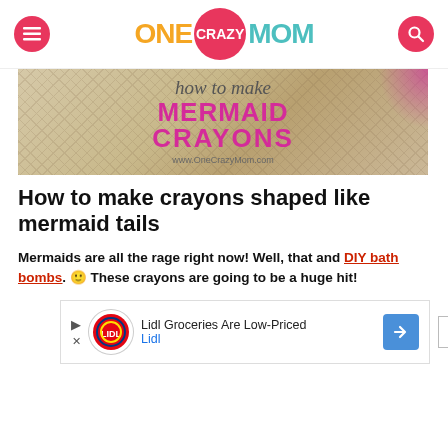ONE CRAZY MOM — navigation header with hamburger menu and search button
[Figure (illustration): Blog post hero image showing 'how to make MERMAID CRAYONS' text over a textured beige/tan background with pink decorative elements. URL www.OneCrazyMom.com shown at bottom.]
How to make crayons shaped like mermaid tails
Mermaids are all the rage right now! Well, that and DIY bath bombs. 🙂 These crayons are going to be a huge hit!
[Figure (screenshot): Lidl Groceries advertisement banner: 'Lidl Groceries Are Low-Priced' with Lidl logo and navigation arrow button]